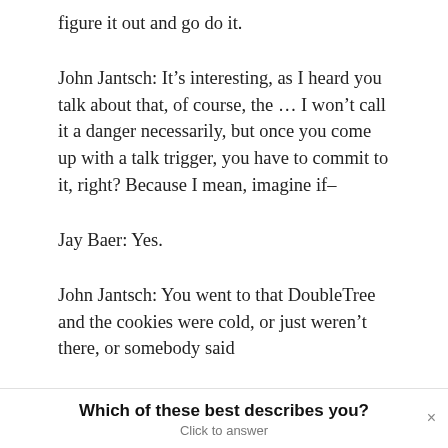figure it out and go do it.
John Jantsch: It’s interesting, as I heard you talk about that, of course, the … I won’t call it a danger necessarily, but once you come up with a talk trigger, you have to commit to it, right? Because I mean, imagine if–
Jay Baer: Yes.
John Jantsch: You went to that DoubleTree and the cookies were cold, or just weren’t there, or somebody said
Which of these best describes you?
Click to answer